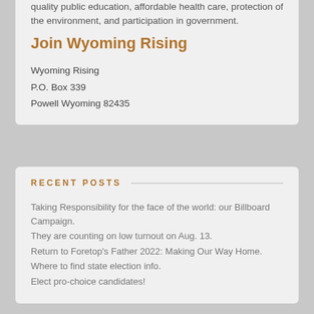quality public education, affordable health care, protection of the environment, and participation in government.
Join Wyoming Rising
Wyoming Rising
P.O. Box 339
Powell Wyoming 82435
RECENT POSTS
Taking Responsibility for the face of the world: our Billboard Campaign.
They are counting on low turnout on Aug. 13.
Return to Foretop's Father 2022: Making Our Way Home.
Where to find state election info.
Elect pro-choice candidates!